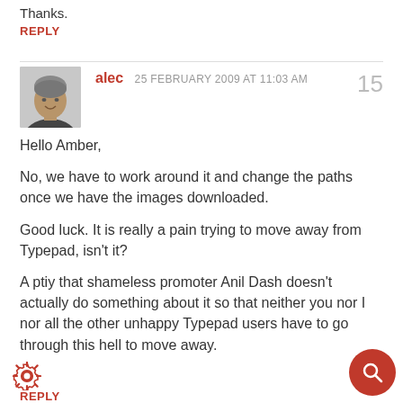Thanks.
REPLY
alec  25 FEBRUARY 2009 AT 11:03 AM   15
Hello Amber,

No, we have to work around it and change the paths once we have the images downloaded.

Good luck. It is really a pain trying to move away from Typepad, isn't it?

A ptiy that shameless promoter Anil Dash doesn't actually do something about it so that neither you nor I nor all the other unhappy Typepad users have to go through this hell to move away.
REPLY